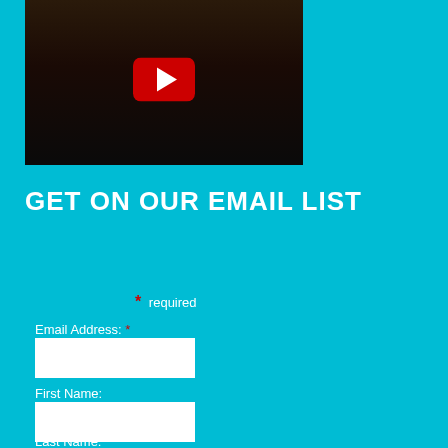[Figure (screenshot): YouTube video thumbnail showing people seated in what appears to be an indoor setting, with a YouTube play button overlay in the center]
GET ON OUR EMAIL LIST
* required
Email Address: *
First Name:
Last Name: